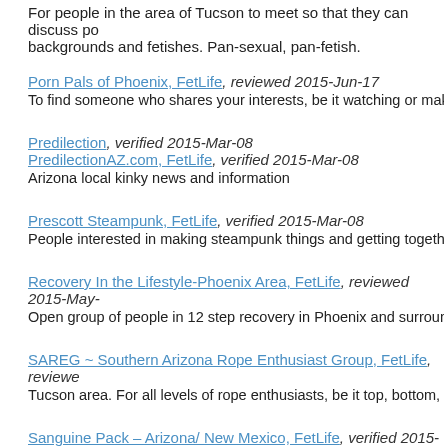For people in the area of Tucson to meet so that they can discuss po... backgrounds and fetishes. Pan-sexual, pan-fetish.
Porn Pals of Phoenix, FetLife, reviewed 2015-Jun-17
To find someone who shares your interests, be it watching or making...
Predilection, verified 2015-Mar-08
PredilectionAZ.com, FetLife, verified 2015-Mar-08
Arizona local kinky news and information
Prescott Steampunk, FetLife, verified 2015-Mar-08
People interested in making steampunk things and getting together, p...
Recovery In the Lifestyle-Phoenix Area, FetLife, reviewed 2015-May-...
Open group of people in 12 step recovery in Phoenix and surroundin...
SAREG ~ Southern Arizona Rope Enthusiast Group, FetLife, reviewe...
Tucson area. For all levels of rope enthusiasts, be it top, bottom, or s...
Sanguine Pack – Arizona/ New Mexico, FetLife, verified 2015-Mar-08
Welcomes all Wolves, Beasts of Fur and Fang, Feather and Claw...